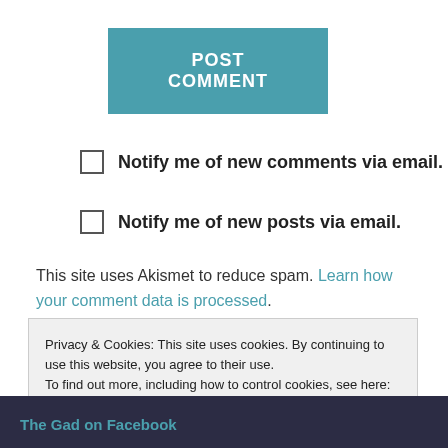POST COMMENT
Notify me of new comments via email.
Notify me of new posts via email.
This site uses Akismet to reduce spam. Learn how your comment data is processed.
Privacy & Cookies: This site uses cookies. By continuing to use this website, you agree to their use.
To find out more, including how to control cookies, see here: Cookie Policy
Close and accept
The Gad on Facebook